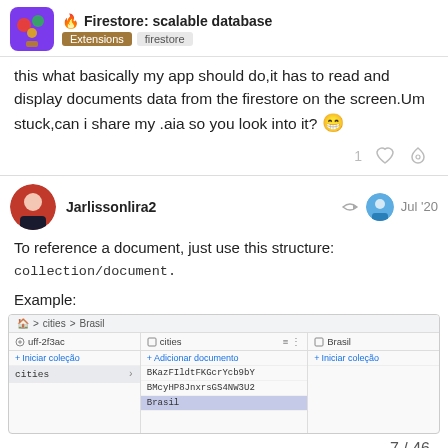Firestore: scalable database | Extensions | firestore
this what basically my app should do,it has to read and display documents data from the firestore on the screen.Um stuck,can i share my .aia so you look into it? 😁
1 [like] [link]
Jarlissonlira2   Jul '20
To reference a document, just use this structure: collection/document.
Example:
[Figure (screenshot): Firestore console screenshot showing breadcrumb navigation: home > cities > Brasil, with columns showing collections (uff-2f3ac, cities) and document (Brasil). The cities column shows items BKazFIldtFKGcrYcb9bY, BMcyHP8JnxrsGS4NW3U2, Brasil (selected). Page number 7/46 shown at bottom right.]